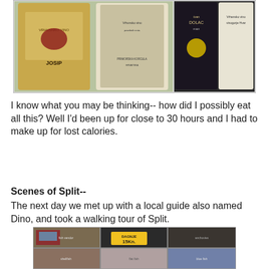[Figure (photo): Collage of four wine bottle photos showing Croatian wines including Vrhusnko Vino Josip and Ivan Dolac labels]
I know what you may be thinking-- how did I possibly eat all this? Well I'd been up for close to 30 hours and I had to make up for lost calories.
Scenes of Split--
The next day we met up with a local guide also named Dino, and took a walking tour of Split.
[Figure (photo): Collage of six fish market photos showing a vendor with fish, mussels with DAGNJE 15Kn price sign, anchovies, clams, flat fish, and blue fish]